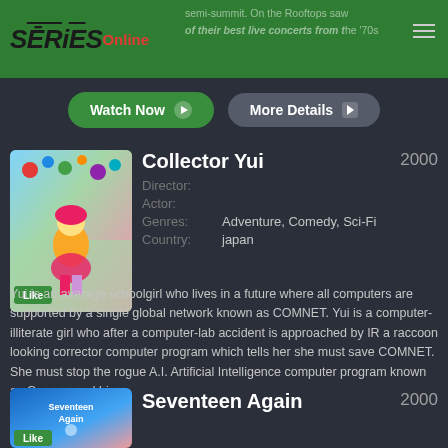SERiES Online
semi-summit. On the Rooftops saw any of their best live concerts from the '70s
[Figure (screenshot): Watch Now and More Details buttons (top)]
[Figure (illustration): Collector Yui anime thumbnail with Like badge]
Collector Yui
2000
Director:
Actor:
Genres: Adventure, Comedy, Sci-Fi
Country: japan
Yui is an average schoolgirl who lives in a future where all computers are supported by a single global network known as COMNET. Yui is a computer-illiterate girl who after a computer-lab accident is approached by IR a raccoon looking corrector computer program which tells her she must save COMNET. She must stop the rogue A.I. Artificial Intelligence computer program known as Grosser and his...
[Figure (screenshot): Watch Now and More Details buttons (bottom)]
[Figure (illustration): Seventeen Again thumbnail with Like badge]
Seventeen Again
2000